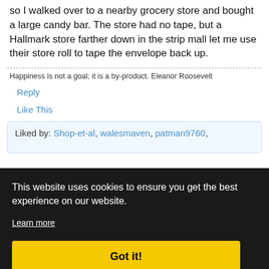so I walked over to a nearby grocery store and bought a large candy bar. The store had no tape, but a Hallmark store farther down in the strip mall let me use their store roll to tape the envelope back up.
Happiness is not a goal; it is a by-product. Eleanor Roosevelt
Reply
Like This
Liked by: Shop-et-al, walesmaven, patman9760,
44PM
This website uses cookies to ensure you get the best experience on our website.
Learn more
Got it!